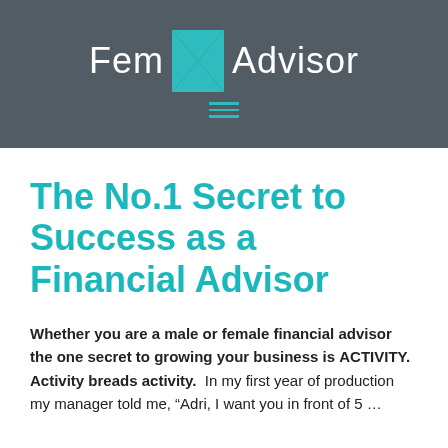[Figure (logo): FemXAdvisor logo with teal X icon between 'Fem' and 'Advisor' in white text on dark gray background, with teal hamburger menu icon below]
The No.1 Secret to Success as a Financial Advisor
Whether you are a male or female financial advisor the one secret to growing your business is ACTIVITY.  Activity breads activity.  In my first year of production my manager told me, “Adri, I want you in front of 5...